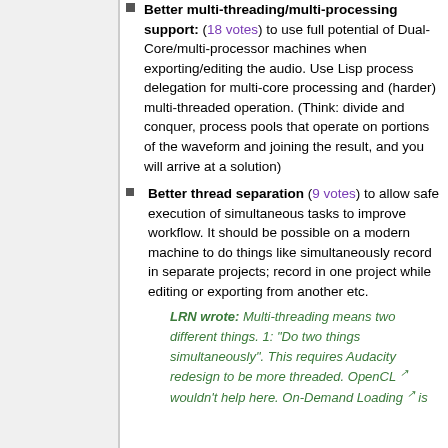Better multi-threading/multi-processing support: (18 votes) to use full potential of Dual-Core/multi-processor machines when exporting/editing the audio. Use Lisp process delegation for multi-core processing and (harder) multi-threaded operation. (Think: divide and conquer, process pools that operate on portions of the waveform and joining the result, and you will arrive at a solution)
Better thread separation (9 votes) to allow safe execution of simultaneous tasks to improve workflow. It should be possible on a modern machine to do things like simultaneously record in separate projects; record in one project while editing or exporting from another etc.
LRN wrote: Multi-threading means two different things. 1: "Do two things simultaneously". This requires Audacity redesign to be more threaded. OpenCL wouldn't help here. On-Demand Loading is